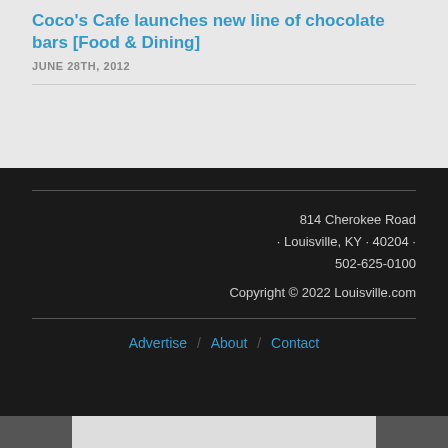Coco's Cafe launches new line of chocolate bars [Food & Dining]
JUNE 28TH, 2012
814 Cherokee Road · Louisville, KY · 40204 · 502-625-0100 Copyright © 2022 Louisville.com
Advertise / About / Contact